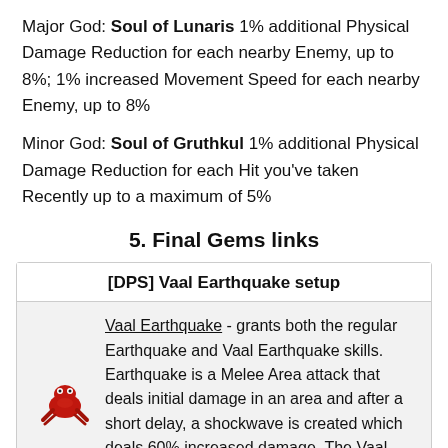Major God: Soul of Lunaris 1% additional Physical Damage Reduction for each nearby Enemy, up to 8%; 1% increased Movement Speed for each nearby Enemy, up to 8%
Minor God: Soul of Gruthkul 1% additional Physical Damage Reduction for each Hit you've taken Recently up to a maximum of 5%
5. Final Gems links
[DPS] Vaal Earthquake setup
Vaal Earthquake - grants both the regular Earthquake and Vaal Earthquake skills. Earthquake is a Melee Area attack that deals initial damage in an area and after a short delay, a shockwave is created which deals 60% increased damage. The Vaal skill works similarly, but the aftershock is much more